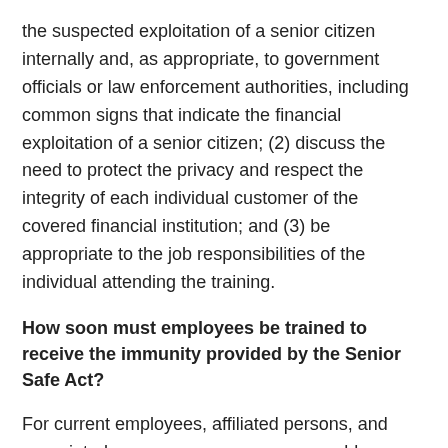the suspected exploitation of a senior citizen internally and, as appropriate, to government officials or law enforcement authorities, including common signs that indicate the financial exploitation of a senior citizen; (2) discuss the need to protect the privacy and respect the integrity of each individual customer of the covered financial institution; and (3) be appropriate to the job responsibilities of the individual attending the training.
How soon must employees be trained to receive the immunity provided by the Senior Safe Act?
For current employees, affiliated persons, and associated persons, as soon as reasonably practical.  New employees or persons who become affiliated or associated with a covered financial institution have no later than one year from the date of hire, affiliation, or association to complete the training.